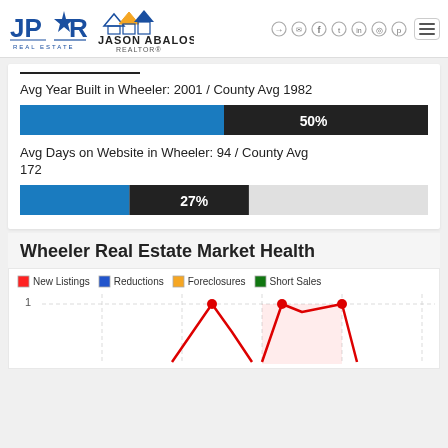JPAR Real Estate — Jason Abalos Realtor
Avg Year Built in Wheeler: 2001 / County Avg 1982
[Figure (bar-chart): Avg Year Built]
Avg Days on Website in Wheeler: 94 / County Avg 172
[Figure (bar-chart): Avg Days on Website]
Wheeler Real Estate Market Health
[Figure (line-chart): Line chart showing New Listings (red), Reductions (blue), Foreclosures (orange), Short Sales (green) over time. Chart is partially visible, showing value of 1 on y-axis. Red line forms a peak shape with dots at top.]